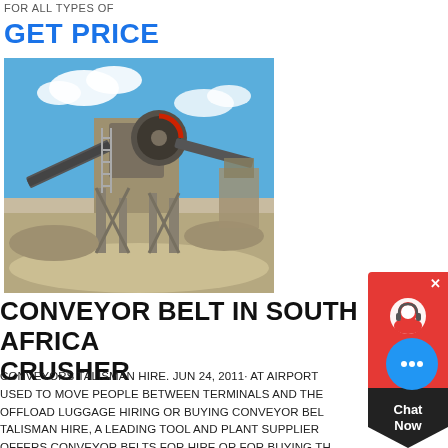FOR ALL TYPES OF
GET PRICE
[Figure (photo): Industrial mining crusher and conveyor belt facility under blue sky with clouds]
CONVEYOR BELT IN SOUTH AFRICA CRUSHER
CONVEYORS TALISMAN HIRE. JUN 24, 2011· AT AIRPORTS, THEY ARE USED TO MOVE PEOPLE BETWEEN TERMINALS AND THE ARE USED TO OFFLOAD LUGGAGE HIRING OR BUYING CONVEYOR BELTS FROM TALISMAN HIRE, A LEADING TOOL AND PLANT SUPPLIER, TALISMAN OFFERS CONVEYOR BELTS FOR HIRE OR FOR BUYING THEY RANGE BETWEEN 10M AND 13M LONG THE FACILITY HOUSES TH